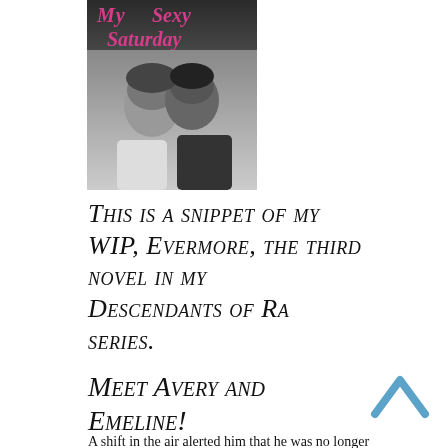[Figure (photo): Book cover for 'My Sexy Saturday' showing a black and white photo of a couple kissing, with pink italic title text at the top]
This is a snippet of my WIP, Evermore, the third novel in my Descendants of Ra series.
Meet Avery and Emeline!
A shift in the air alerted him that he was no longer